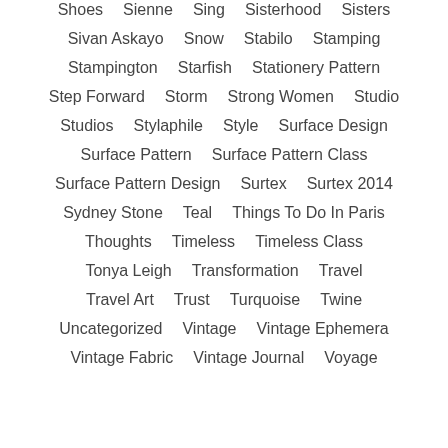Shoes   Sienne   Sing   Sisterhood   Sisters
Sivan Askayo   Snow   Stabilo   Stamping
Stampington   Starfish   Stationery Pattern
Step Forward   Storm   Strong Women   Studio
Studios   Stylaphile   Style   Surface Design
Surface Pattern   Surface Pattern Class
Surface Pattern Design   Surtex   Surtex 2014
Sydney Stone   Teal   Things To Do In Paris
Thoughts   Timeless   Timeless Class
Tonya Leigh   Transformation   Travel
Travel Art   Trust   Turquoise   Twine
Uncategorized   Vintage   Vintage Ephemera
Vintage Fabric   Vintage Journal   Voyage